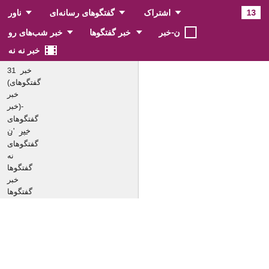ناور ▼ | گفتگوهای رسانه‌ای ▼ | اشتراک ▼ | 13
خبر شب‌های رو ▼ | خبر گفتگوها ▼ | ن-خبر □
خبر نه نه ▼ 🎬
31 خبر (گفتگوهای خبر خبر)- گفتگوهای خبر 'ن گفتگوهای نه گفتگوها خبر گفتگوها خبر خبر نه نه نه نه خبر گفتگوها خبر نه